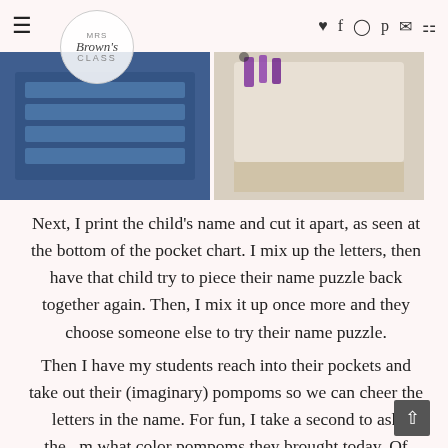≡  MRS Brown's CLASS  ♥ f ◎ p ✉ 🛒
[Figure (photo): Two classroom photos side by side: left shows a blue pocket chart, right shows a white tray with purple decorations]
Next, I print the child's name and cut it apart, as seen at the bottom of the pocket chart. I mix up the letters, then have that child try to piece their name puzzle back together again. Then, I mix it up once more and they choose someone else to try their name puzzle.
Then I have my students reach into their pockets and take out their (imaginary) pompoms so we can cheer the letters in the name. For fun, I take a second to ask them what color pompoms they brought today. Of